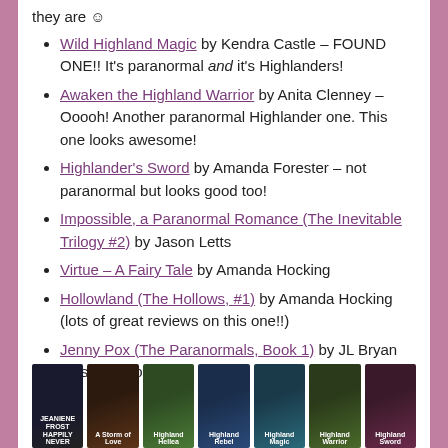they are ☺
Wild Highland Magic by Kendra Castle – FOUND ONE!! It's paranormal and it's Highlanders!
Awaken the Highland Warrior by Anita Clenney – Ooooh! Another paranormal Highlander one. This one looks awesome!
Highlander's Sword by Amanda Forester – not paranormal but looks good too!
Impossible, a Paranormal Romance (The Inevitable Trilogy #2) by Jason Letts
Virtue – A Fairy Tale by Amanda Hocking
Hollowland (The Hollows, #1) by Amanda Hocking (lots of great reviews on this one!!)
Jenny Pox (The Paranormals, Book 1) by JL Bryan (this one too!)
[Figure (photo): A strip of seven romance novel book covers at the bottom of the page, including titles related to Highland, paranormal, and fairy tale themes.]